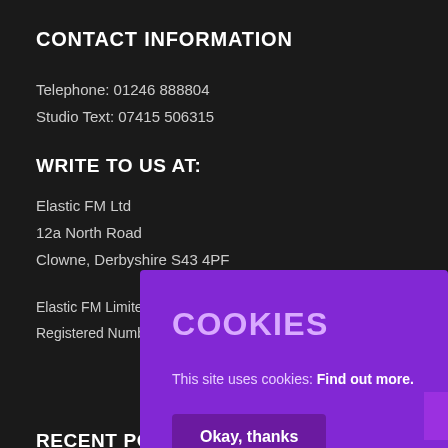CONTACT INFORMATION
Telephone: 01246 888804
Studio Text: 07415 506315
WRITE TO US AT:
Elastic FM Ltd
12a North Road
Clowne, Derbyshire S43 4PF
Elastic FM Limited
Registered Number
[Figure (screenshot): Cookie consent overlay with purple background. Heading: COOKIES. Body: This site uses cookies: Find out more. Button: Okay, thanks]
RECENT POSTS
Coming Soon to Staveley – Nutrition Club